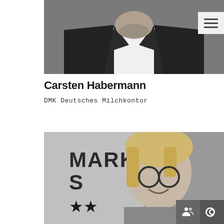[Figure (photo): Black and white photo of Carsten Habermann, a man in a dark suit with white shirt, cropped at chest level, face not shown]
Carsten Habermann
DMK Deutsches Milchkontor
[Figure (photo): Black and white photo of a woman with short hair and round glasses, smiling, in front of a sign reading MARKT with stars, partially cropped]